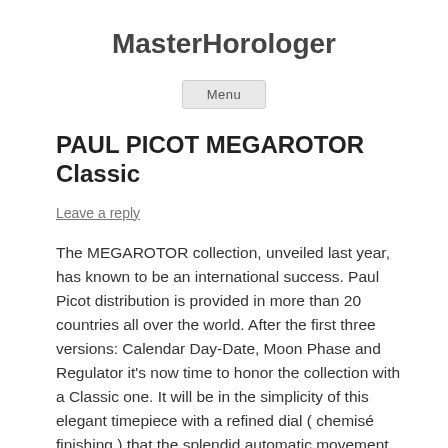MasterHorologer
Menu
PAUL PICOT MEGAROTOR Classic
Leave a reply
The MEGAROTOR collection, unveiled last year, has known to be an international success. Paul Picot distribution is provided in more than 20 countries all over the world. After the first three versions: Calendar Day-Date, Moon Phase and Regulator it's now time to honor the collection with a Classic one. It will be in the simplicity of this elegant timepiece with a refined dial ( chemisé finishing ) that the splendid automatic movement, with its exclusive MEGAROTOR system, will be